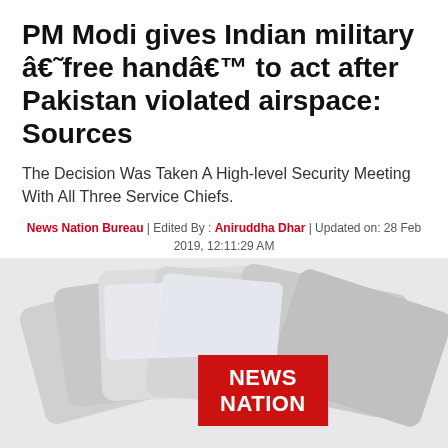PM Modi gives Indian military â€˜free handâ€™ to act after Pakistan violated airspace: Sources
The Decision Was Taken A High-level Security Meeting With All Three Service Chiefs.
News Nation Bureau | Edited By : Aniruddha Dhar | Updated on: 28 Feb 2019, 12:11:29 AM
[Figure (infographic): Social media share icons: Facebook (blue circle), Twitter (light blue circle), WhatsApp (green circle), LinkedIn (dark blue circle)]
[Figure (photo): Background image of stacked tablets/newspapers with News Nation red logo badge overlay]